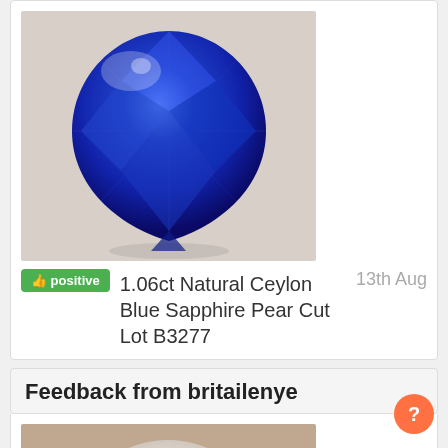[Figure (photo): Blue pear-cut Ceylon sapphire gemstone on light background]
👍 positive   1.06ct Natural Ceylon Blue Sapphire Pear Cut Lot B3277   13th Aug
Feedback from britailenye
[Figure (photo): White baroque pearl held between fingers, showing iridescent surface texture]